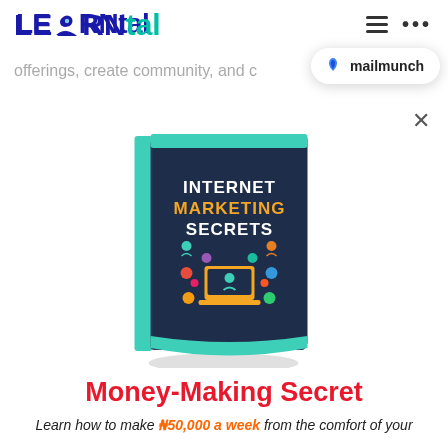LEARNtal
offerings, create community, and c
[Figure (logo): Mailmunch logo badge with blue flame icon and text 'mailmunch']
×
[Figure (illustration): 3D book cover titled 'INTERNET MARKETING SECRETS' with teal spine, dark navy cover, and digital marketing icons illustration including laptop, people, and social media icons]
Money-Making Secret
Learn how to make ₦50,000 a week from the comfort of your